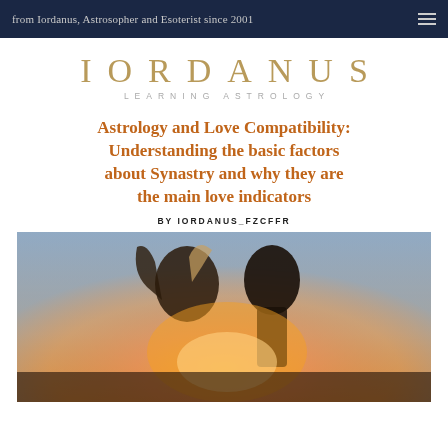from Iordanus, Astrosopher and Esoterist since 2001
[Figure (logo): IORDANUS LEARNING ASTROLOGY logo with golden letters and grey subtitle]
Astrology and Love Compatibility: Understanding the basic factors about Synastry and why they are the main love indicators
BY IORDANUS_FZCFFR
[Figure (photo): Couple leaning heads together on beach with warm golden backlight sunset]